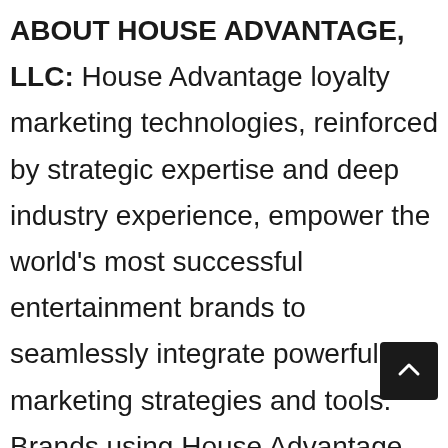ABOUT HOUSE ADVANTAGE, LLC: House Advantage loyalty marketing technologies, reinforced by strategic expertise and deep industry experience, empower the world's most successful entertainment brands to seamlessly integrate powerful new marketing strategies and tools. Brands using House Advantage, increase customer engagement, generate vital business intelligence, and boost per-customer share-of-wallet with seamless integration and total support for their existing systems. House Advantage is headquartered in Las Vegas, NV, with offices in Macau and Memphis, TN. For more information about House Advantage, please visit